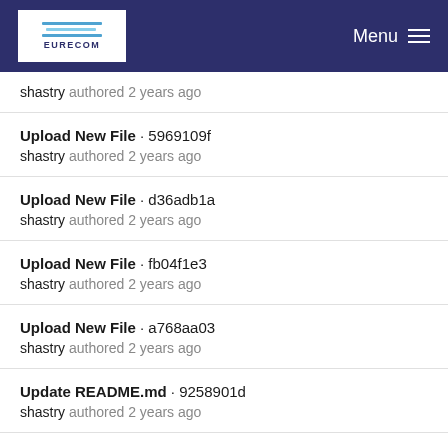EURECOM | Menu
shastry authored 2 years ago
Upload New File · 5969109f
shastry authored 2 years ago
Upload New File · d36adb1a
shastry authored 2 years ago
Upload New File · fb04f1e3
shastry authored 2 years ago
Upload New File · a768aa03
shastry authored 2 years ago
Update README.md · 9258901d
shastry authored 2 years ago
Update README.md · 92743c5e
shastry authored 2 years ago